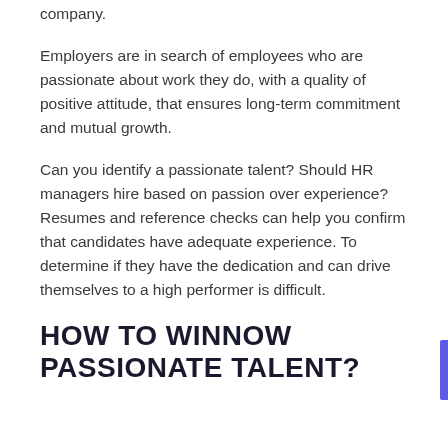company.
Employers are in search of employees who are passionate about work they do, with a quality of positive attitude, that ensures long-term commitment and mutual growth.
Can you identify a passionate talent? Should HR managers hire based on passion over experience? Resumes and reference checks can help you confirm that candidates have adequate experience. To determine if they have the dedication and can drive themselves to a high performer is difficult.
HOW TO WINNOW PASSIONATE TALENT?